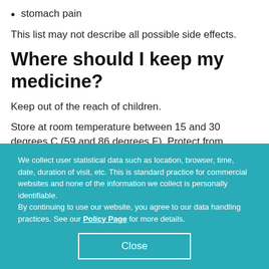stomach pain
This list may not describe all possible side effects.
Where should I keep my medicine?
Keep out of the reach of children.
Store at room temperature between 15 and 30 degrees C (59 and 86 degrees F). Protect from moisture. Keep container tightly closed. Throw away any unused medicine after the expiration date.
We collect user statistical data such as location, browser, time, date, duration of visit, etc. This is standard practice for commercial websites and none of the information we collect is personally identifiable. By continuing to use our website, you agree to our data handling practices. See our Policy Page for more details.